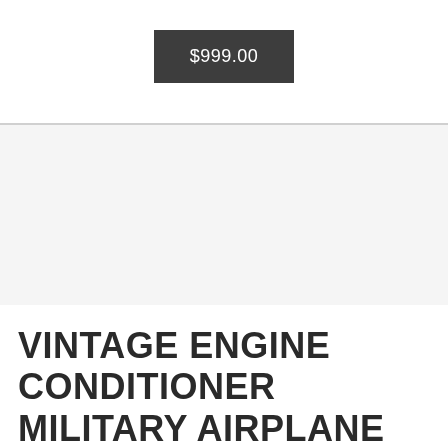$999.00
VINTAGE ENGINE CONDITIONER MILITARY AIRPLANE JET COCKPIT LEVER CONTROL PHANTOM